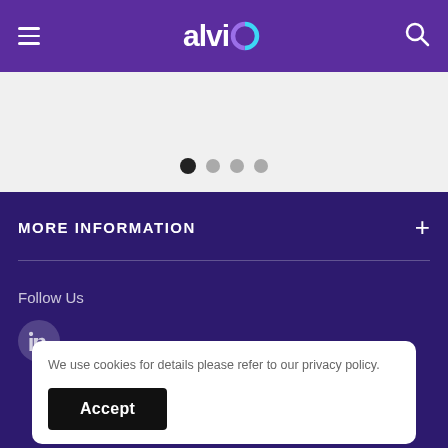alvio
[Figure (other): Carousel pagination dots — one filled dark dot and three lighter dots indicating a 4-slide carousel]
MORE INFORMATION
Follow Us
[Figure (logo): LinkedIn icon in a circular button]
We use cookies for details please refer to our privacy policy.
Accept